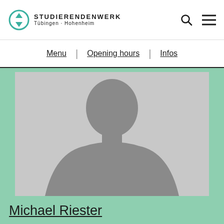STUDIERENDENWERK Tübingen · Hohenheim
Menu | Opening hours | Infos
[Figure (photo): Placeholder silhouette photo of a person (gray background with gray human silhouette)]
Michael Riester
Cafeteria manager Morgenstelle